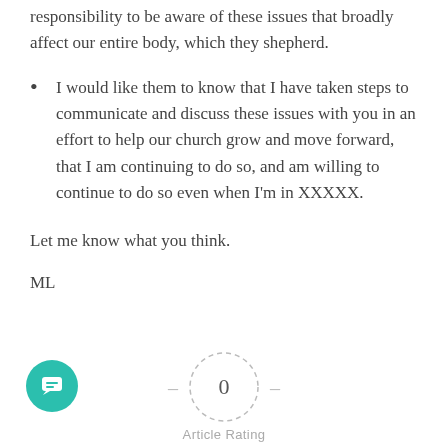responsibility to be aware of these issues that broadly affect our entire body, which they shepherd.
I would like them to know that I have taken steps to communicate and discuss these issues with you in an effort to help our church grow and move forward, that I am continuing to do so, and am willing to continue to do so even when I'm in XXXXX.
Let me know what you think.
ML
[Figure (other): A rating widget showing a dashed circle with the number 0 inside, flanked by two dashes, labeled 'Article Rating' below.]